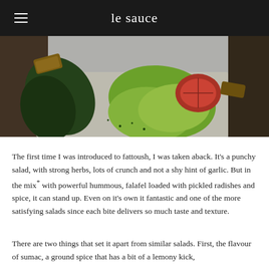le sauce
[Figure (photo): Close-up photograph of a fattoush salad with green lettuce leaves, a red tomato slice, and croutons on a white plate]
The first time I was introduced to fattoush, I was taken aback. It's a punchy salad, with strong herbs, lots of crunch and not a shy hint of garlic. But in the mix* with powerful hummous, falafel loaded with pickled radishes and spice, it can stand up. Even on it's own it fantastic and one of the more satisfying salads since each bite delivers so much taste and texture.
There are two things that set it apart from similar salads. First, the flavour of sumac, a ground spice that has a bit of a lemony kick,